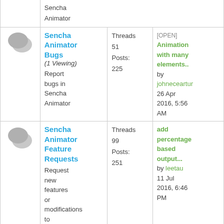| Icon | Forum | Stats | Latest Post |
| --- | --- | --- | --- |
| [icon] | Sencha Animator |  |  |
| [icon] | Sencha Animator Bugs (1 Viewing)
Report bugs in Sencha Animator | Threads: 51
Posts: 225 | [OPEN] Animation with many elements.. by johneceartur 26 Apr 2016, 5:56 AM |
| [icon] | Sencha Animator Feature Requests
Request new features or modifications to existing | Threads: 99
Posts: 251 | add percentage based output... by leetau 11 Jul 2016, 6:46 PM |